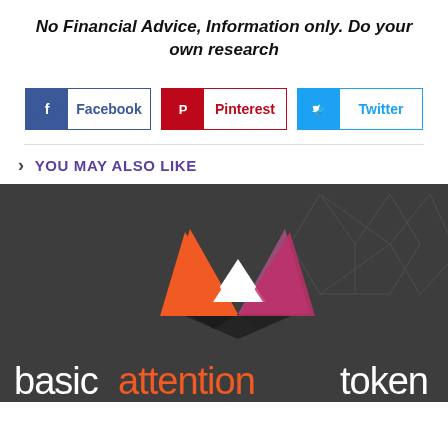No Financial Advice, Information only. Do your own research
[Figure (other): Social share buttons: Facebook (blue), Pinterest (red), Twitter (light blue)]
YOU MAY ALSO LIKE
[Figure (logo): Basic Attention Token logo and branding image on dark background, showing the BAT triangle logo in orange, pink, and purple, with geometric line art, and text 'basicattentiontoken' in white and orange]